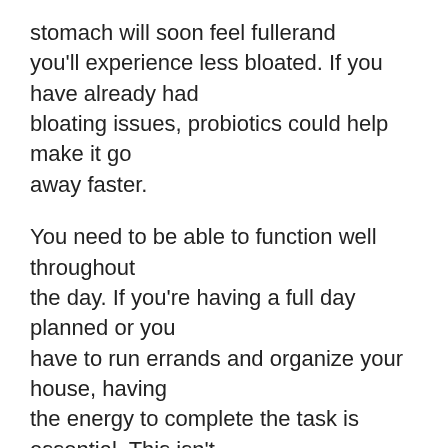stomach will soon feel fullerand you'll experience less bloated. If you have already had bloating issues, probiotics could help make it go away faster.
You need to be able to function well throughout the day. If you're having a full day planned or you have to run errands and organize your house, having the energy to complete the task is essential. This isn't just dependent on sleep and how well you absorb food throughout the day. If your stomach is not in a state of calm or agitation, your mind will also be agitated. Probiotics boost your energy levels by giving them a boost and promoting the production of more energy. It's a great way to keep energy up all